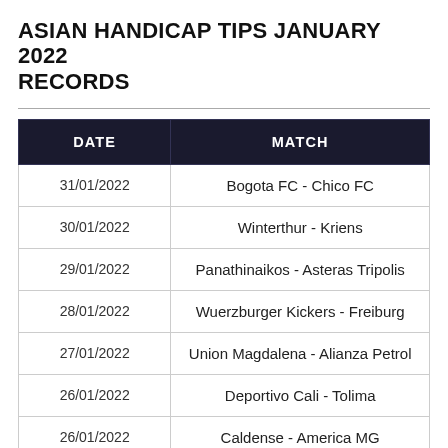ASIAN HANDICAP TIPS JANUARY 2022 RECORDS
| DATE | MATCH |
| --- | --- |
| 31/01/2022 | Bogota FC - Chico FC |
| 30/01/2022 | Winterthur - Kriens |
| 29/01/2022 | Panathinaikos - Asteras Tripolis |
| 28/01/2022 | Wuerzburger Kickers - Freiburg |
| 27/01/2022 | Union Magdalena - Alianza Petrol |
| 26/01/2022 | Deportivo Cali - Tolima |
| 26/01/2022 | Caldense - America MG |
| 24/01/2022 | Wolfsberger AC - Shakhtar Done |